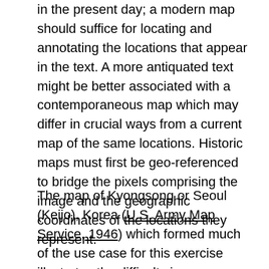in the present day; a modern map should suffice for locating and annotating the locations that appear in the text. A more antiquated text might be better associated with a contemporaneous map which may differ in crucial ways from a current map of the same locations. Historic maps must first be geo-referenced to bridge the pixels comprising the image and the geographic coordinates of the locations they represent.
The map of Kyongsong or Seoul (Keijo), Korea (U.S. Army Map Service, 1946) which formed much of the use case for this exercise illustrates the difficulty in geo-referencing historical maps to their current equivalents. The map was created immediately after the end of the Japanese occupation of Korea (1910-1945) and is located by some countries of Korea